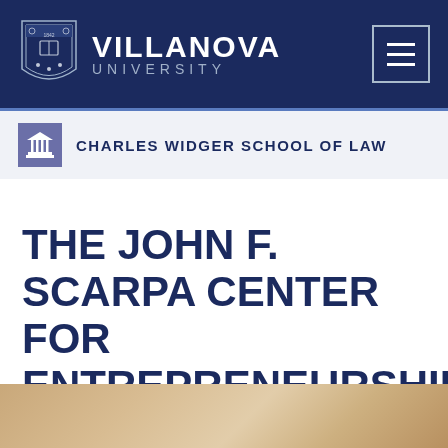VILLANOVA UNIVERSITY
CHARLES WIDGER SCHOOL OF LAW
THE JOHN F. SCARPA CENTER FOR ENTREPRENEURSHIP AND LAW
[Figure (photo): Blurred background photo of books or documents, partially visible at bottom of page]